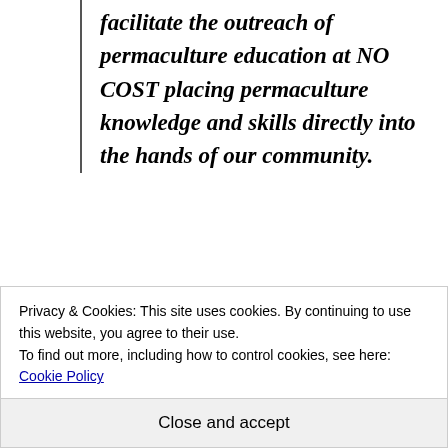facilitate the outreach of permaculture education at NO COST placing permaculture knowledge and skills directly into the hands of our community.
We gather on a regular basis at the Chico Library for educational topics and discussions, a potluck and share the surplus over. We also facilitate
Privacy & Cookies: This site uses cookies. By continuing to use this website, you agree to their use. To find out more, including how to control cookies, see here: Cookie Policy
Close and accept